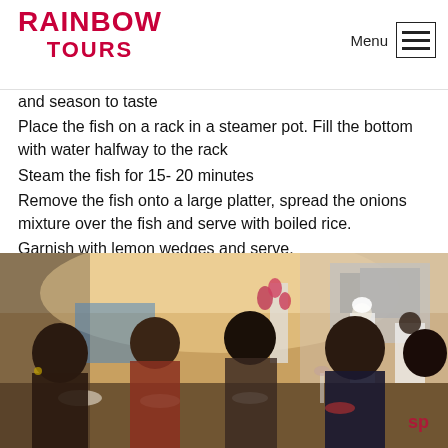RAINBOW TOURS | Menu
and season to taste
Place the fish on a rack in a steamer pot. Fill the bottom with water halfway to the rack
Steam the fish for 15- 20 minutes
Remove the fish onto a large platter, spread the onions mixture over the fish and serve with boiled rice.
Garnish with lemon wedges and serve.
[Figure (photo): People dining at a long table in a restaurant setting. Chefs in white uniforms are visible in the background near kitchen equipment. A pink orchid plant decorates the space. Warm lighting throughout.]